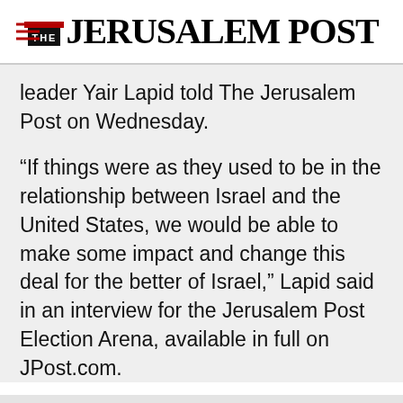THE JERUSALEM POST
leader Yair Lapid told The Jerusalem Post on Wednesday.
“If things were as they used to be in the relationship between Israel and the United States, we would be able to make some impact and change this deal for the better of Israel,” Lapid said in an interview for the Jerusalem Post Election Arena, available in full on JPost.com.
Advertisement